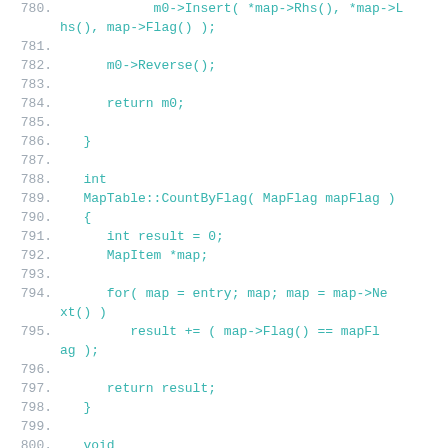[Figure (screenshot): Code editor screenshot showing C++ source lines 780-801, with line numbers in gray and code in teal/cyan monospace font on white background.]